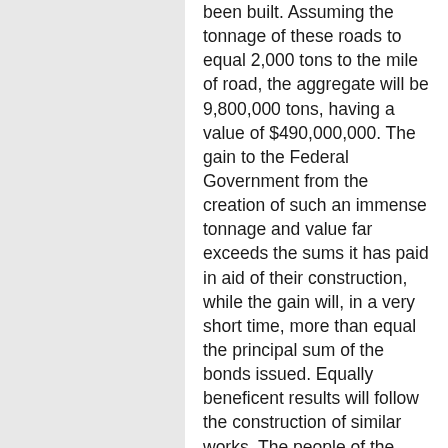been built. Assuming the tonnage of these roads to equal 2,000 tons to the mile of road, the aggregate will be 9,800,000 tons, having a value of $490,000,000. The gain to the Federal Government from the creation of such an immense tonnage and value far exceeds the sums it has paid in aid of their construction, while the gain will, in a very short time, more than equal the principal sum of the bonds issued. Equally beneficent results will follow the construction of similar works. The people of the United States cannot afford to have extensive portions of their wide domain remain without means of access. In cases where such means have not been supplied by navigable water-courses they must be by a railway, or vast territories must